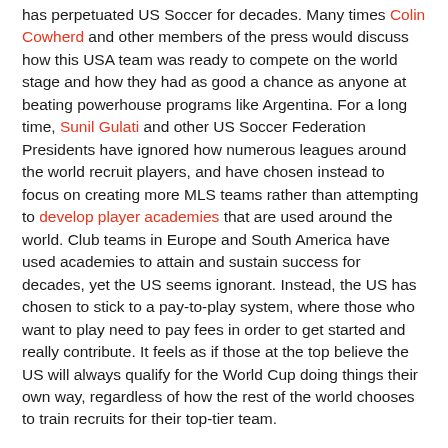has perpetuated US Soccer for decades. Many times Colin Cowherd and other members of the press would discuss how this USA team was ready to compete on the world stage and how they had as good a chance as anyone at beating powerhouse programs like Argentina. For a long time, Sunil Gulati and other US Soccer Federation Presidents have ignored how numerous leagues around the world recruit players, and have chosen instead to focus on creating more MLS teams rather than attempting to develop player academies that are used around the world. Club teams in Europe and South America have used academies to attain and sustain success for decades, yet the US seems ignorant. Instead, the US has chosen to stick to a pay-to-play system, where those who want to play need to pay fees in order to get started and really contribute. It feels as if those at the top believe the US will always qualify for the World Cup doing things their own way, regardless of how the rest of the world chooses to train recruits for their top-tier team.
In 2014, the USMNT nearly reached the quarterfinals of the World Cup, almost beating Portugal in the group stages and Belgium in the round of sixteen — two of the best teams in the world. Everyone had reasons to be optimistic, as the USMNT had held